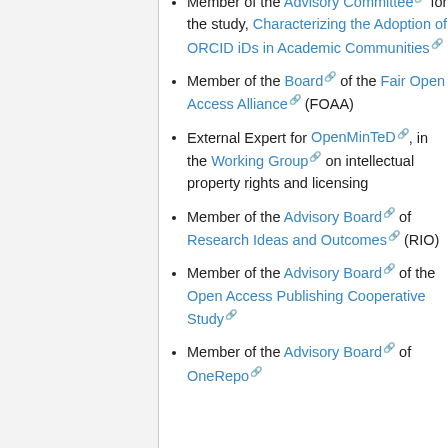Member of the Advisory Committee for the study, Characterizing the Adoption of ORCID iDs in Academic Communities
Member of the Board of the Fair Open Access Alliance (FOAA)
External Expert for OpenMinTeD, in the Working Group on intellectual property rights and licensing
Member of the Advisory Board of Research Ideas and Outcomes (RIO)
Member of the Advisory Board of the Open Access Publishing Cooperative Study
Member of the Advisory Board of OneRepo